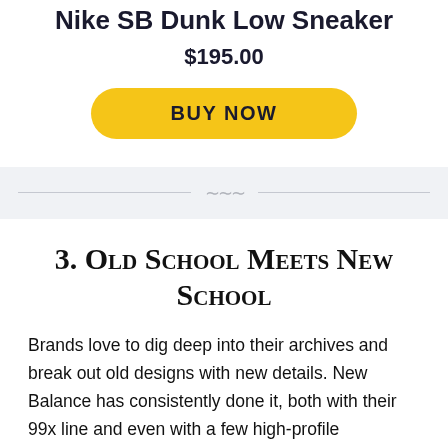Nike SB Dunk Low Sneaker
$195.00
BUY NOW
3. Old School Meets New School
Brands love to dig deep into their archives and break out old designs with new details. New Balance has consistently done it, both with their 99x line and even with a few high-profile collaborations. Basically, what's old is new again — especially when it comes to NB. We anticipate the company to do more releases this year, so keep your eye on the prize to score some of